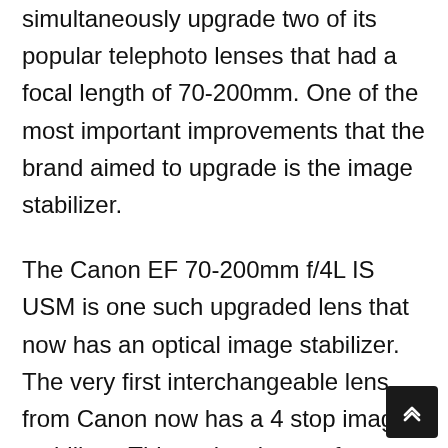simultaneously upgrade two of its popular telephoto lenses that had a focal length of 70-200mm. One of the most important improvements that the brand aimed to upgrade is the image stabilizer.
The Canon EF 70-200mm f/4L IS USM is one such upgraded lens that now has an optical image stabilizer. The very first interchangeable lens from Canon now has a 4 stop image stabilizer. This makes it easy for photographers who wish to handhold the lens as the image blur is reduced.
The lens is also ideal for low light shooting conditions and the user need not have a tripod or a flash to